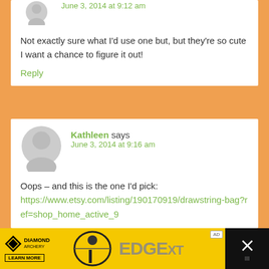June 3, 2014 at 9:12 am
Not exactly sure what I'd use one but, but they're so cute I want a chance to figure it out!
Reply
Kathleen says
June 3, 2014 at 9:16 am
Oops – and this is the one I'd pick: https://www.etsy.com/listing/190170919/drawstring-bag?ref=shop_home_active_9
[Figure (photo): Diamond Archery EDGE XT advertisement banner at bottom of page]